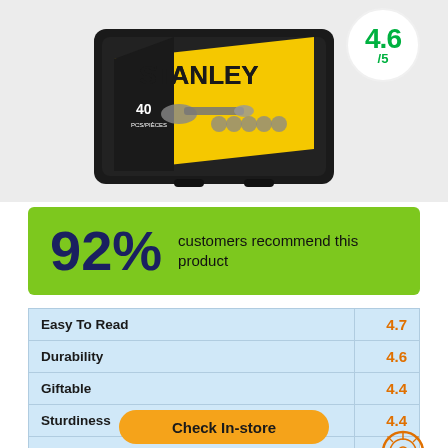[Figure (photo): Stanley 40-piece socket set in black case with yellow/black branding, rating badge showing 4.6/5]
92% customers recommend this product
| Attribute | Score |
| --- | --- |
| Easy To Read | 4.7 |
| Durability | 4.6 |
| Giftable | 4.4 |
| Sturdiness | 4.4 |
| Value For Money | 4.4 |